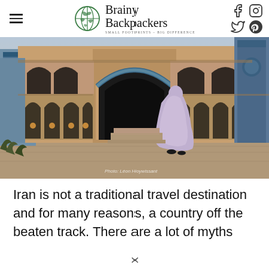Brainy Backpackers — SMALL FOOTPRINTS – BIG DIFFERENCE
[Figure (photo): A woman in a light purple chador walking through a grand historic Iranian mosque courtyard with ornate brick arches and blue tile details]
Iran is not a traditional travel destination and for many reasons, a country off the beaten track. There are a lot of myths